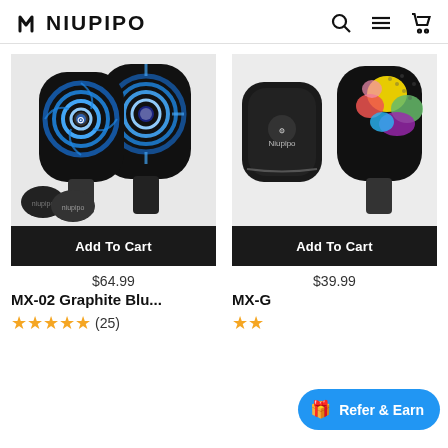NIUPIPO
[Figure (photo): Two black pickleball paddles with blue swirl/eye pattern and two small paddle covers with Niupipo logo]
Add To Cart
$64.99
MX-02 Graphite Blu...
★★★★★ (25)
[Figure (photo): One black pickleball paddle with colorful paint splash design and a black Niupipo paddle case]
Add To Cart
$39.99
MX-G
★★
Refer & Earn